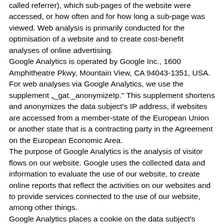called referrer), which sub-pages of the website were accessed, or how often and for how long a sub-page was viewed. Web analysis is primarily conducted for the optimisation of a website and to create cost-benefit analyses of online advertising.
Google Analytics is operated by Google Inc., 1600 Amphitheatre Pkwy, Mountain View, CA 94043-1351, USA. For web analyses via Google Analytics, we use the supplement „_gat._anonymizeIp." This supplement shortens and anonymizes the data subject's IP address, if websites are accessed from a member-state of the European Union or another state that is a contracting party in the Agreement on the European Economic Area.
The purpose of Google Analytics is the analysis of visitor flows on our website. Google uses the collected data and information to evaluate the use of our website, to create online reports that reflect the activities on our websites and to provide services connected to the use of our website, among other things.
Google Analytics places a cookie on the data subject's computer. An explanation of what cookies are is provided